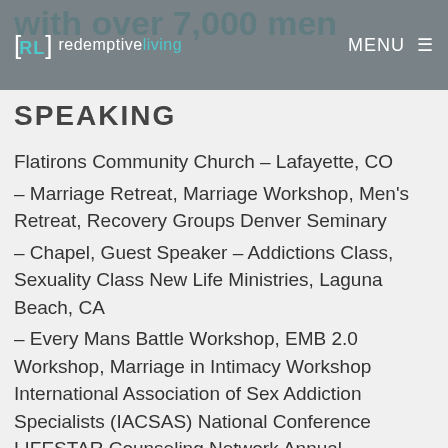with over 7,000 men
redeemptive living   MENU
SPEAKING
Flatirons Community Church – Lafayette, CO
– Marriage Retreat, Marriage Workshop, Men's Retreat, Recovery Groups Denver Seminary
– Chapel, Guest Speaker – Addictions Class, Sexuality Class New Life Ministries, Laguna Beach, CA
– Every Mans Battle Workshop, EMB 2.0 Workshop, Marriage in Intimacy Workshop International Association of Sex Addiction Specialists (IACSAS) National Conference LIFESTAR Counseling Network Annual Conference Red Rocks